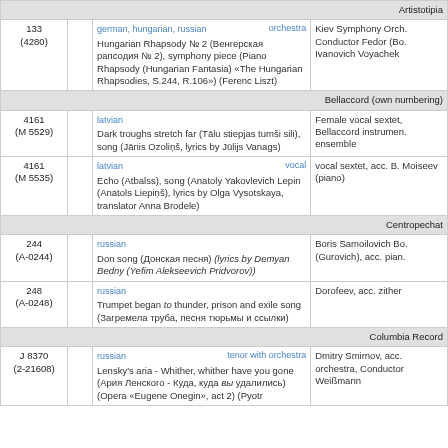Artistotipia
| Number |  | Description | Performer |
| --- | --- | --- | --- |
| 133
(4280) |  | german, hungarian, russian | orchestra
Hungarian Rhapsody № 2 (Венгерская рапсодия № 2), symphony piece (Piano Rhapsody (Hungarian Fantasia) «The Hungarian Rhapsodies, S.244, R.106») (Ferenc Liszt) | Kiev Symphony Orch. Conductor Fedor (Bo. Ivanovich Voyachek |
Bellaccord (own numbering)
| Number |  | Description | Performer |
| --- | --- | --- | --- |
| 4161
(M 5529) |  | latvian
Dark troughs stretch far (Tālu stiepjas tumši sili), song (Jānis Ozoliņš, lyrics by Jūlijs Vanags) | Female vocal sextet, Bellaccord instrumen. ensemble |
| 4161
(M 5535) |  | latvian | vocal
Echo (Atbalss), song (Anatoly Yakovlevich Lepin (Anatols Liepiņš), lyrics by Olga Vysotskaya, translator Anna Brodele) | vocal sextet, acc. B. Moiseev (piano) |
Centropechat
| Number |  | Description | Performer |
| --- | --- | --- | --- |
| 244
(A-0244) |  | russian
Don song (Донская песня) (lyrics by Demyan Bedny (Yefim Alekseevich Pridvorov)) | Boris Samoilovich Bo. (Gurovich), acc. pian. |
| 248
(A-0248) |  | russian
Trumpet began to thunder, prison and exile song (Загремела труба, песня тюрьмы и ссылки) | Dorofeev, acc. zither |
Columbia Record
| Number |  | Description | Performer |
| --- | --- | --- | --- |
| J 8370
(2-21608) |  | russian | tenor with orchestra
Lensky's aria - Whither, whither have you gone (Ария Ленского - Куда, куда вы удалились) (Opera «Eugene Onegin», act 2) (Pyotr | Dmitry Smirnov, acc. orchestra, Conductor Weißmann |